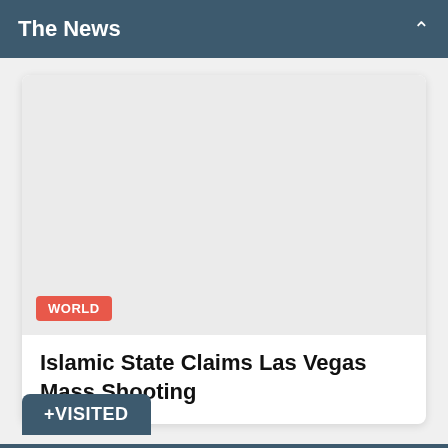The News
[Figure (photo): Gray placeholder image area for a news article about Islamic State claiming Las Vegas mass shooting]
Islamic State Claims Las Vegas Mass Shooting
+VISITED